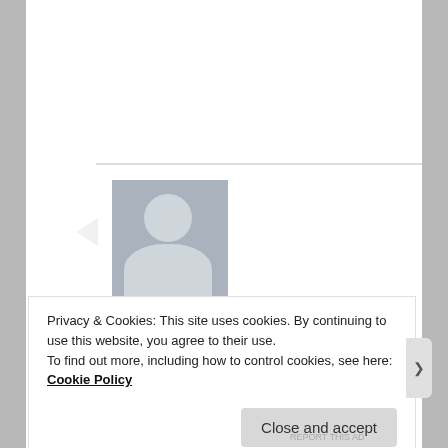[Figure (illustration): Generic user avatar — grey square with silhouette of head and shoulders in lighter grey]
Monica Martin on April 21, 2015 at 1:11 AM said:
Hi, was wanting to know if it was a good idea to blend in the pieces of fat after cooking rather than discarding them. I realize this would make a fattier broth but if palatable is it okay or are their plenty of nutrients without doing this.
Privacy & Cookies: This site uses cookies. By continuing to use this website, you agree to their use.
To find out more, including how to control cookies, see here: Cookie Policy
Close and accept